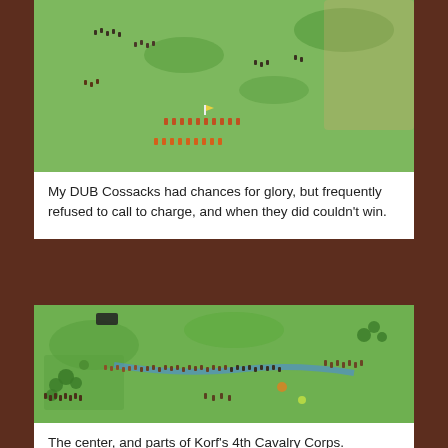[Figure (photo): Aerial view of a miniature wargame battlefield showing small painted figurines of Cossack cavalry on a green felt table surface with terrain features.]
My DUB Cossacks had chances for glory, but frequently refused to call to charge, and when they did couldn't win.
[Figure (photo): Wide aerial view of a large miniature wargame battle scene showing Korf's 4th Cavalry Corps in the center of a green felt battlefield with many painted figurines, trees, and terrain.]
The center, and parts of Korf's 4th Cavalry Corps.